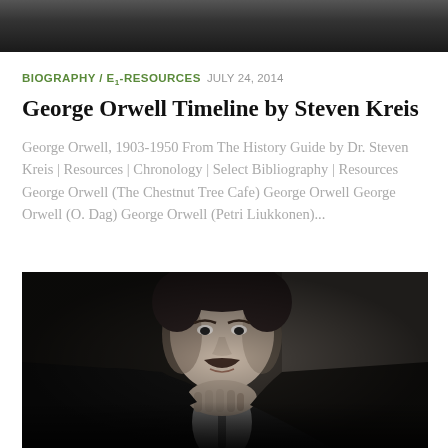[Figure (photo): Black and white photograph strip at the top of the page, partially cropped]
BIOGRAPHY / E1-RESOURCES  JULY 24, 2014
George Orwell Timeline by Steven Kreis
George Orwell, 1903-1950 From The History Guide by Dr. Steven Kreis | Resources | Chronology | Select Bibliography | Resources George Orwell (The Chestnut Tree Cafe) George Orwell George Orwell (O. Dag) George Orwell (Petri Liukkonen)...
[Figure (photo): Black and white portrait photograph of a man (George Orwell era) with mustache, resting chin on hand, wearing dark suit and tie]